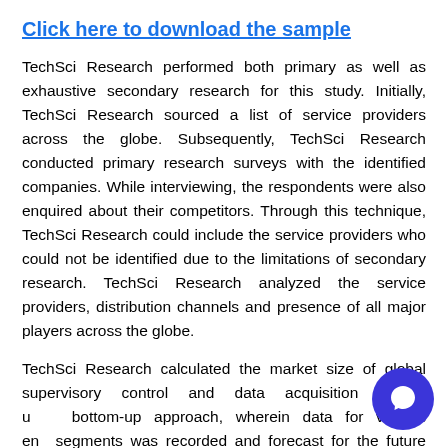Click here to download the sample
TechSci Research performed both primary as well as exhaustive secondary research for this study. Initially, TechSci Research sourced a list of service providers across the globe. Subsequently, TechSci Research conducted primary research surveys with the identified companies. While interviewing, the respondents were also enquired about their competitors. Through this technique, TechSci Research could include the service providers who could not be identified due to the limitations of secondary research. TechSci Research analyzed the service providers, distribution channels and presence of all major players across the globe.
TechSci Research calculated the market size of global supervisory control and data acquisition market using bottom-up approach, wherein data for various end segments was recorded and forecast for the future years.